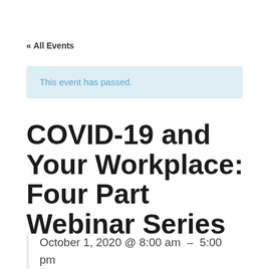« All Events
This event has passed.
COVID-19 and Your Workplace: Four Part Webinar Series
October 1, 2020 @ 8:00 am - 5:00 pm